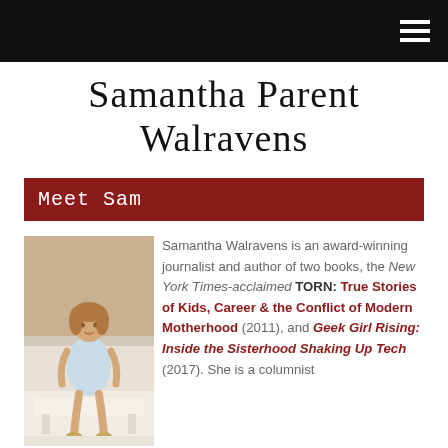Navigation bar with hamburger menu
Samantha Parent Walravens
Meet Sam
[Figure (photo): Photo of Samantha Walravens, a woman in a light blue dress seated on a white bench in a living room setting]
Samantha Walravens is an award-winning journalist and author of two books, the New York Times-acclaimed TORN: True Stories of Kids, Career & the Conflict of Modern Motherhood (2011), and Geek Girl Rising: Inside the Sisterhood Shaking Up Tech (2017). She is a columnist